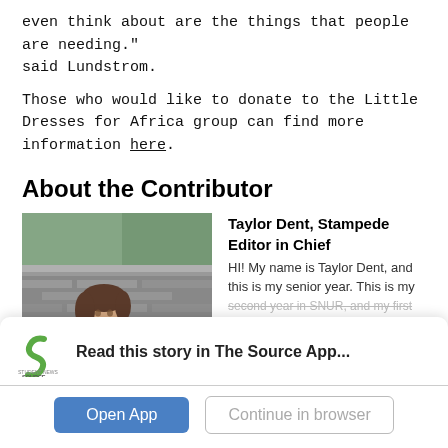even think about are the things that people are needing." said Lundstrom.
Those who would like to donate to the Little Dresses for Africa group can find more information here.
About the Contributor
[Figure (photo): Photo of Taylor Dent, a young woman with brown hair wearing a red jacket, seated in front of a stone wall outdoors.]
Taylor Dent, Stampede Editor in Chief
HI! My name is Taylor Dent, and this is my senior year. This is my second year in SNUR, and my first...
Read this story in The Source App...
Open App
Continue in browser